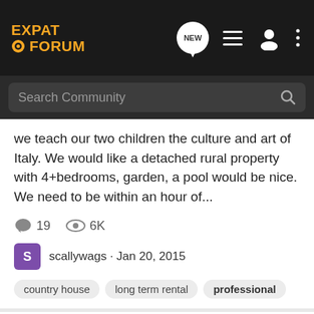Expat Forum
we teach our two children the culture and art of Italy. We would like a detached rural property with 4+bedrooms, garden, a pool would be nice. We need to be within an hour of...
19 comments · 6K views · scallywags · Jan 20, 2015
country house
long term rental
professional
Share with me
Dubai Expat Forum for Expats Living in Dubai
Hi All Im a British female and been living in Dubai for nearly a year now and want to move down towards the Marina. Does anyone know any British females who are looking to